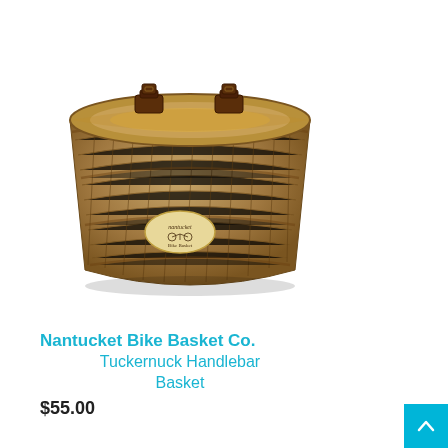[Figure (photo): A woven wicker handlebar bike basket with leather straps and a Nantucket Bike Basket Co. oval label on the front.]
Nantucket Bike Basket Co. Tuckernuck Handlebar Basket
$55.00